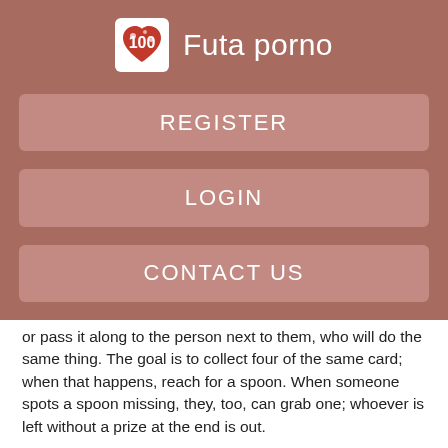Futa porno
REGISTER
LOGIN
CONTACT US
or pass it along to the person next to them, who will do the same thing. The goal is to collect four of the same card; when that happens, reach for a spoon. When someone spots a spoon missing, they, too, can grab one; whoever is left without a prize at the end is out.
Game library
Remove one more spoon and play again. Pick a phone to pass